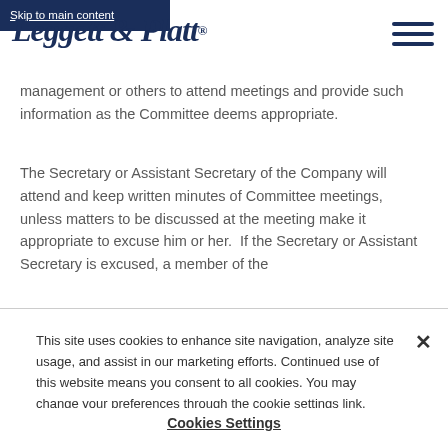Skip to main content | Leggett & Platt® [navigation menu]
management or others to attend meetings and provide such information as the Committee deems appropriate.
The Secretary or Assistant Secretary of the Company will attend and keep written minutes of Committee meetings, unless matters to be discussed at the meeting make it appropriate to excuse him or her.  If the Secretary or Assistant Secretary is excused, a member of the
This site uses cookies to enhance site navigation, analyze site usage, and assist in our marketing efforts. Continued use of this website means you consent to all cookies. You may change your preferences through the cookie settings link.
Cookies Settings